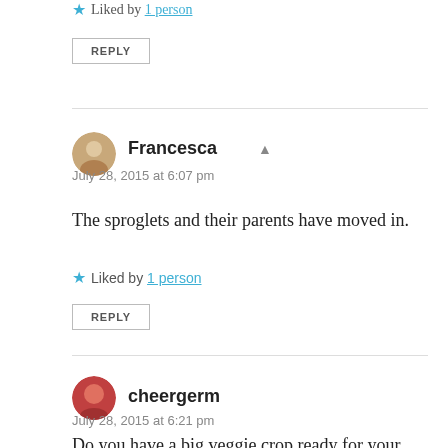Liked by 1 person
REPLY
Francesca
July 28, 2015 at 6:07 pm
The sproglets and their parents have moved in.
Liked by 1 person
REPLY
cheergerm
July 28, 2015 at 6:21 pm
Do you have a big veggie crop ready for your extra guests?